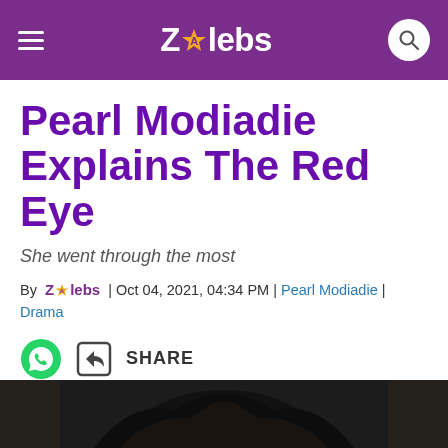ZAlebs
Pearl Modiadie Explains The Red Eye
She went through the most
By ZAlebs | Oct 04, 2021, 04:34 PM | Pearl Modiadie | Drama
SHARE
[Figure (photo): Bottom portion of a person with dark hair, partial photo strip at the bottom of the page]